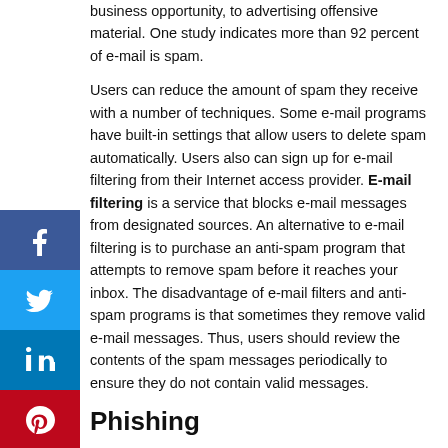business opportunity, to advertising offensive material. One study indicates more than 92 percent of e-mail is spam.
Users can reduce the amount of spam they receive with a number of techniques. Some e-mail programs have built-in settings that allow users to delete spam automatically. Users also can sign up for e-mail filtering from their Internet access provider. E-mail filtering is a service that blocks e-mail messages from designated sources. An alternative to e-mail filtering is to purchase an anti-spam program that attempts to remove spam before it reaches your inbox. The disadvantage of e-mail filters and anti-spam programs is that sometimes they remove valid e-mail messages. Thus, users should review the contents of the spam messages periodically to ensure they do not contain valid messages.
Phishing
Phishing is a scam in which a perpetrator sends an official looking e-mail message that attempts to obtain your personal and financial information. Some phishing e-